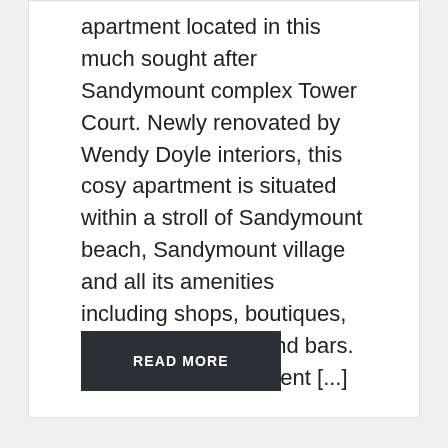apartment located in this much sought after Sandymount complex Tower Court. Newly renovated by Wendy Doyle interiors, this cosy apartment is situated within a stroll of Sandymount beach, Sandymount village and all its amenities including shops, boutiques, restaurants, cafes and bars. Opposite the apartment [...]
READ MORE